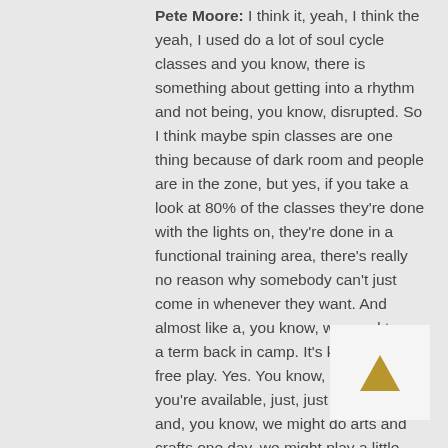Pete Moore: I think it, yeah, I think the yeah, I used do a lot of soul cycle classes and you know, there is something about getting into a rhythm and not being, you know, disrupted. So I think maybe spin classes are one thing because of dark room and people are in the zone, but yes, if you take a look at 80% of the classes they're done with the lights on, they're done in a functional training area, there's really no reason why somebody can't just come in whenever they want. And almost like a, you know, we used to use a term back in camp. It's kind of like free play. Yes. You know, so whenever you're available, just, just kind of step in and, you know, we might do arts and crafts one day, we might play a little ultimate Frisbee. I'm going to throw out some, one of the things I like to do, flag football, tackle